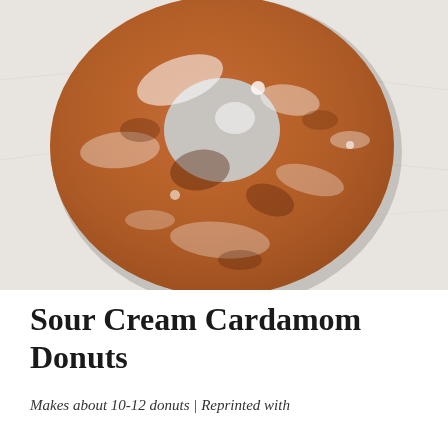[Figure (photo): Close-up overhead photo of a glazed sour cream cardamom donut on white parchment paper. The donut is ring-shaped with a golden-brown fried exterior, covered in a white glaze with a crackled, textured surface.]
Sour Cream Cardamom Donuts
Makes about 10-12 donuts | Reprinted with